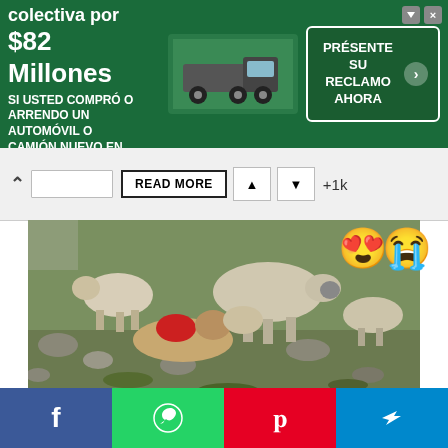[Figure (screenshot): Green advertisement banner: 'Acuerdo de la demanda colectiva por $82 Millones - SI USTED COMPRÓ O ARRENDO UN AUTOMÓVIL O CAMIÓN NUEVO EN CALIFORNIA DESDE 2001 A 2003' with truck image and 'PRÉSENTE SU RECLAMO AHORA' button]
READ MORE  ▲  ▼  +1k
[Figure (photo): Outdoor scene with sheep on rocky terrain; a dog lying injured with red wound and sheep appearing to nuzzle it. Two emoji overlays: heart-eyes emoji and loudly crying emoji.]
[Figure (infographic): Social sharing bar with Facebook, WhatsApp, Pinterest, and Telegram buttons]